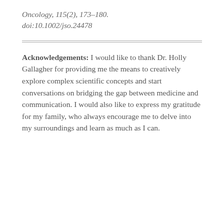Oncology, 115(2), 173–180. doi:10.1002/jso.24478
Acknowledgements: I would like to thank Dr. Holly Gallagher for providing me the means to creatively explore complex scientific concepts and start conversations on bridging the gap between medicine and communication. I would also like to express my gratitude for my family, who always encourage me to delve into my surroundings and learn as much as I can.